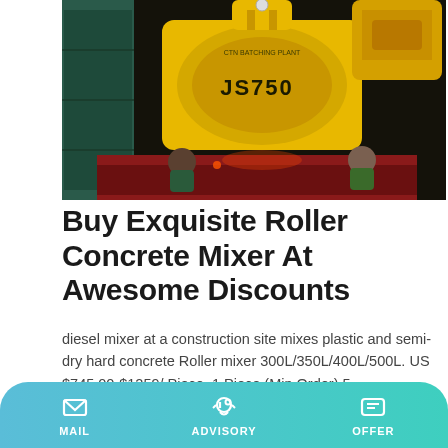[Figure (photo): Yellow concrete mixer labeled JS750 being lifted/loaded onto a truck at night, with workers below.]
Buy Exquisite Roller Concrete Mixer At Awesome Discounts
diesel mixer at a construction site mixes plastic and semi-dry hard concrete Roller mixer 300L/350L/400L/500L. US $745.00-$1259/ Piece. 1 Piece (Min Order) 5 …
Learn More
[Figure (photo): Partial photo at bottom of page showing industrial/construction equipment.]
MAIL   ADVISORY   OFFER